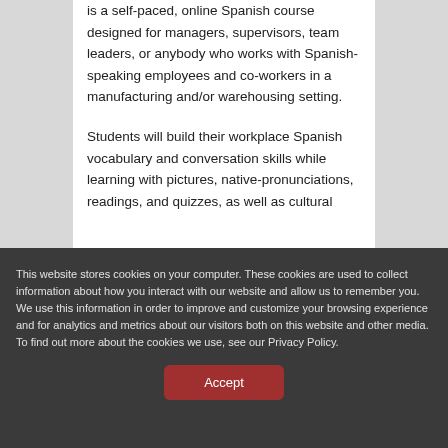is a self-paced, online Spanish course designed for managers, supervisors, team leaders, or anybody who works with Spanish-speaking employees and co-workers in a manufacturing and/or warehousing setting.
Students will build their workplace Spanish vocabulary and conversation skills while learning with pictures, native-pronunciations, readings, and quizzes, as well as cultural
This website stores cookies on your computer. These cookies are used to collect information about how you interact with our website and allow us to remember you. We use this information in order to improve and customize your browsing experience and for analytics and metrics about our visitors both on this website and other media. To find out more about the cookies we use, see our Privacy Policy.